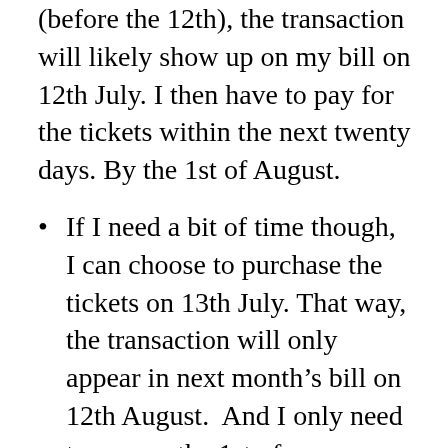(before the 12th), the transaction will likely show up on my bill on 12th July. I then have to pay for the tickets within the next twenty days. By the 1st of August.
If I need a bit of time though, I can choose to purchase the tickets on 13th July. That way, the transaction will only appear in next month's bill on 12th August.  And I only need to pay on the 1st of September. I've effectively increased my interest-free period to